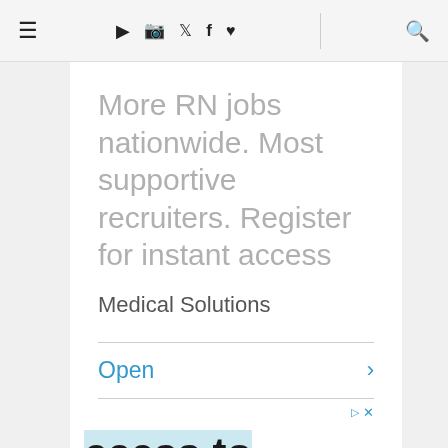≡ ▶ 📷 🐦 f ♥ 🔍
More RN jobs nationwide. Most supportive recruiters. Register for instant access
Medical Solutions
Open
ccess to thousands of N Jobs